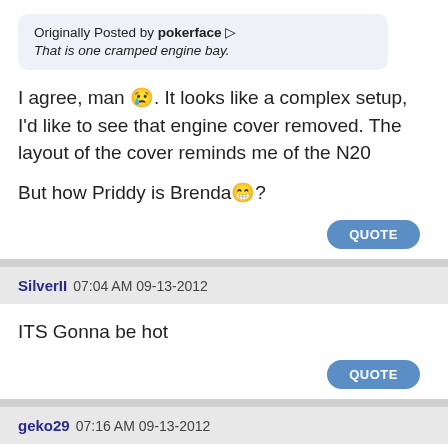Originally Posted by pokerface ▶
That is one cramped engine bay.
I agree, man 😢. It looks like a complex setup, I'd like to see that engine cover removed. The layout of the cover reminds me of the N20
But how Priddy is Brenda😁?
QUOTE
SilverII 07:04 AM 09-13-2012
ITS Gonna be hot
QUOTE
geko29 07:16 AM 09-13-2012